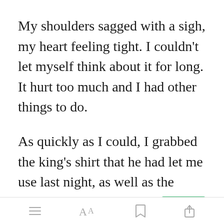My shoulders sagged with a sigh, my heart feeling tight. I couldn't let myself think about it for long. It hurt too much and I had other things to do.
As quickly as I could, I grabbed the king's shirt that he had let me use last night, as well as the boxers that didn't fit, and [Open in app] washed them in the
[menu icon] [font icon] [bookmark icon] [share icon]